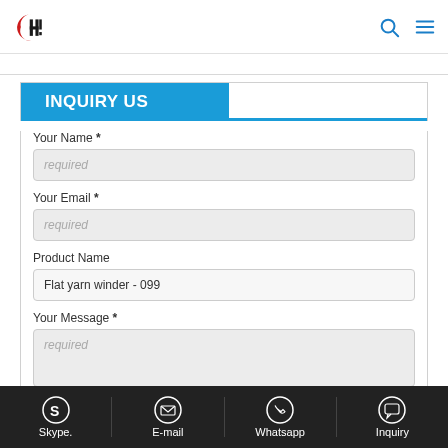HL logo, search icon, menu icon
INQUIRY US
Your Name *
required
Your Email *
required
Product Name
Flat yarn winder - 099
Your Message *
required
Skype. | E-mail | Whatsapp | Inquiry